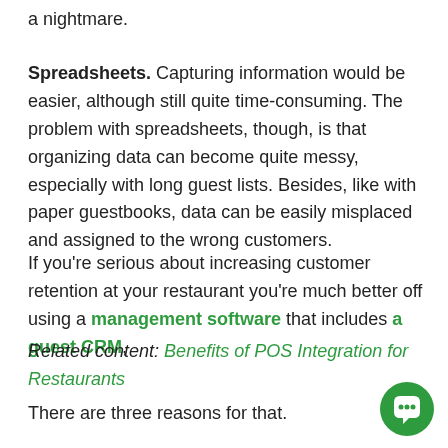a nightmare.
Spreadsheets. Capturing information would be easier, although still quite time-consuming. The problem with spreadsheets, though, is that organizing data can become quite messy, especially with long guest lists. Besides, like with paper guestbooks, data can be easily misplaced and assigned to the wrong customers.
If you're serious about increasing customer retention at your restaurant you're much better off using a management software that includes a guest CRM,
Related content: Benefits of POS Integration for Restaurants
There are three reasons for that.